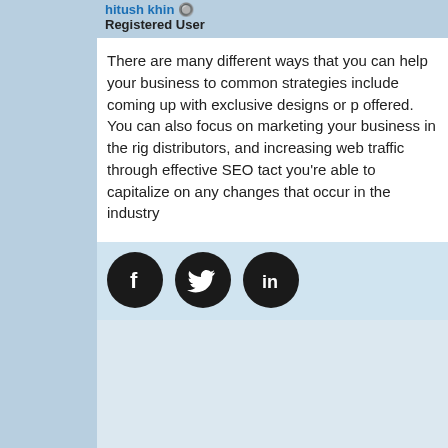hitush khin
Registered User
There are many different ways that you can help your business to common strategies include coming up with exclusive designs or p offered. You can also focus on marketing your business in the rig distributors, and increasing web traffic through effective SEO tact you're able to capitalize on any changes that occur in the industry
[Figure (illustration): Three social media icons: Facebook (f), Twitter (bird), LinkedIn (in)]
« Previous Thr
Thread Information
There are currently 1 users browsing this thread. (0 members and
Tags for this Thread
business coaching, digital agency, ecommerce business, online b
View Tag Cloud